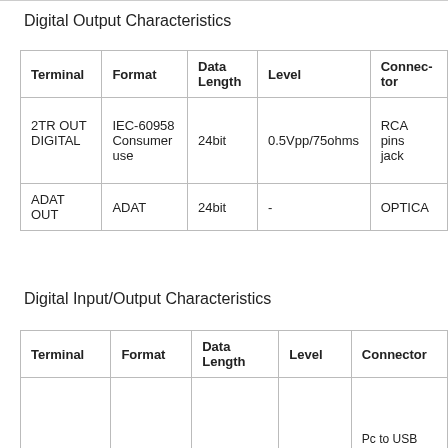Digital Output Characteristics
| Terminal | Format | Data Length | Level | Connector |
| --- | --- | --- | --- | --- |
| 2TR OUT DIGITAL | IEC-60958 Consumer use | 24bit | 0.5Vpp/75ohms | RCA pins jack |
| ADAT OUT | ADAT | 24bit | - | OPTICAL |
Digital Input/Output Characteristics
| Terminal | Format | Data Length | Level | Connector |
| --- | --- | --- | --- | --- |